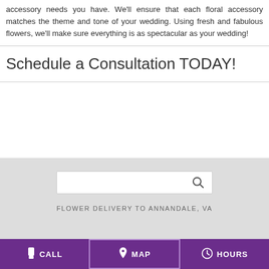accessory needs you have. We'll ensure that each floral accessory matches the theme and tone of your wedding. Using fresh and fabulous flowers, we'll make sure everything is as spectacular as your wedding!
Schedule a Consultation TODAY!
[Figure (screenshot): Search bar with magnifying glass icon on grey background]
FLOWER DELIVERY TO ANNANDALE, VA
CALL   MAP   HOURS